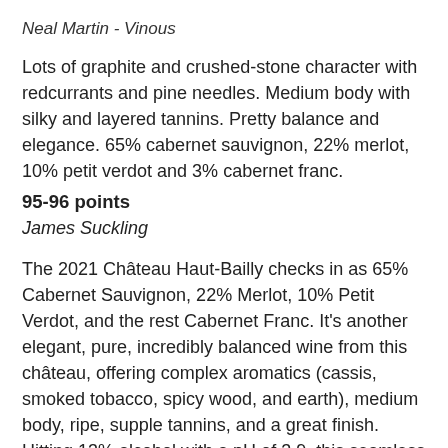Neal Martin - Vinous
Lots of graphite and crushed-stone character with redcurrants and pine needles. Medium body with silky and layered tannins. Pretty balance and elegance. 65% cabernet sauvignon, 22% merlot, 10% petit verdot and 3% cabernet franc.
95-96 points
James Suckling
The 2021 Château Haut-Bailly checks in as 65% Cabernet Sauvignon, 22% Merlot, 10% Petit Verdot, and the rest Cabernet Franc. It's another elegant, pure, incredibly balanced wine from this château, offering complex aromatics (cassis, smoked tobacco, spicy wood, and earth), medium body, ripe, supple tannins, and a great finish. Hitting 13% alcohol with a pH of 3.9, this seamless beauty will drink nicely right out of the gate yet evolve for 25-30 years.
93-95 points